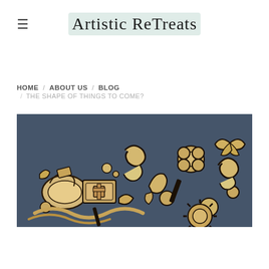≡  Artistic ReTreats
HOME / ABOUT US / BLOG / THE SHAPE OF THINGS TO COME?
[Figure (photo): Pile of laser-cut wooden decorative shapes and embellishments on a dark blue-grey surface, showing various scroll, floral, and geometric chipboard pieces with dark burnt edges]